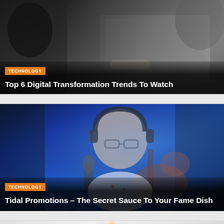[Figure (photo): Dark background photo showing someone using a laptop, with a microphone partially visible, representing a technology/digital workspace scene]
Top 6 Digital Transformation Trends To Watch
[Figure (photo): Blue-lit photo of a young man with glasses and headphones playing guitar in a recording studio, with a microphone in the foreground]
Tidal Promotions – The Secret Sauce To Your Fame Dish
[Figure (photo): Partially visible photo with light/white background, appears to show a person, partially cropped at bottom of page]